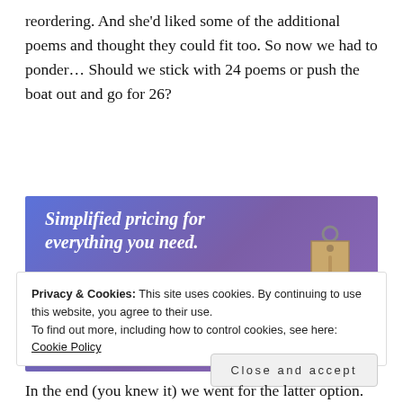reordering. And she'd liked some of the additional poems and thought they could fit too. So now we had to ponder... Should we stick with 24 poems or push the boat out and go for 26?
[Figure (screenshot): Advertisement banner with gradient blue-purple background showing text 'Simplified pricing for everything you need.' with a pink 'Build Your Website' button and a price tag image on the right.]
Privacy & Cookies: This site uses cookies. By continuing to use this website, you agree to their use.
To find out more, including how to control cookies, see here: Cookie Policy
Close and accept
In the end (you knew it) we went for the latter option.